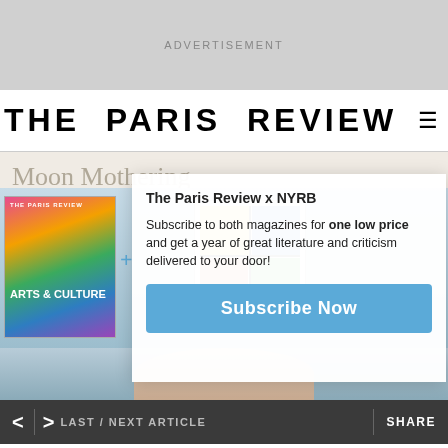ADVERTISEMENT
THE PARIS REVIEW
Moon Mothering
By Katy Kelleher · December 18, 2019
[Figure (screenshot): Subscription popup overlay for The Paris Review x NYRB with two magazine covers and a Subscribe Now button]
The Paris Review x NYRB
Subscribe to both magazines for one low price and get a year of great literature and criticism delivered to your door!
< >  LAST / NEXT ARTICLE    SHARE